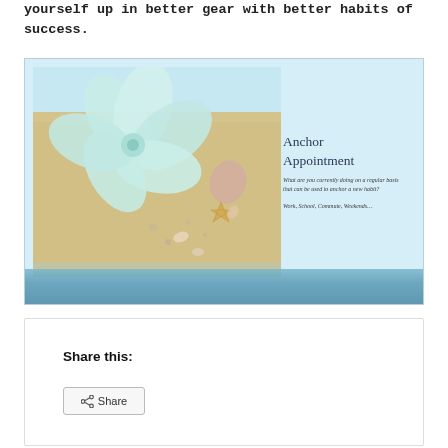yourself up in better gear with better habits of success.
[Figure (illustration): A slide or card showing a beach scene with a white flower, starfish, and shells in the sand on the left, and on the right panel text reading 'Anchor Appointment' with the question 'What are you currently doing on a regular basis that can be used to anchor a new habit?' and the list 'Work, School, Commute, Weekends...']
Share this:
Share